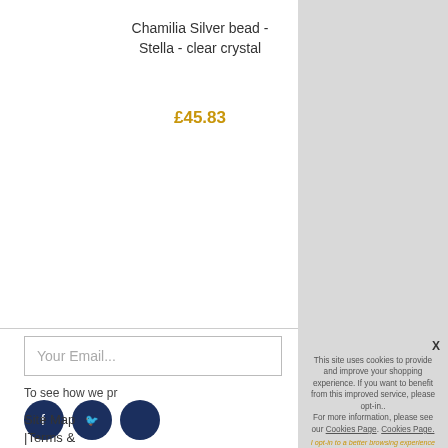Chamilia Silver bead - Stella - clear crystal
£45.83
Your Email...
To see how we pr
Site Map
|Terms &
This site uses cookies to provide and improve your shopping experience. If you want to benefit from this improved service, please opt-in.. For more information, please see our Cookies Page. Cookies Page.
I opt-in to a better browsing experience
ACCEPT COOKIES